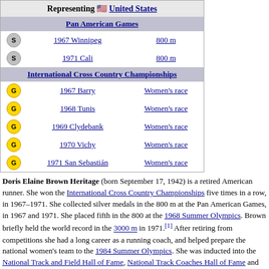|  | Representing 🇺🇸 United States |  |
| --- | --- | --- |
|  | Pan American Games |  |
| S | 1967 Winnipeg | 800 m |
| S | 1971 Cali | 800 m |
|  | International Cross Country Championships |  |
| G | 1967 Barry | Women's race |
| G | 1968 Tunis | Women's race |
| G | 1969 Clydebank | Women's race |
| G | 1970 Vichy | Women's race |
| G | 1971 San Sebastián | Women's race |
Doris Elaine Brown Heritage (born September 17, 1942) is a retired American runner. She won the International Cross Country Championships five times in a row, in 1967–1971. She collected silver medals in the 800 m at the Pan American Games, in 1967 and 1971. She placed fifth in the 800 at the 1968 Summer Olympics. Brown briefly held the world record in the 3000 m in 1971.[1] After retiring from competitions she had a long career as a running coach, and helped prepare the national women's team to the 1984 Summer Olympics. She was inducted into the National Track and Field Hall of Fame, National Track Coaches Hall of Fame and National Distance Running Hall of Fame.